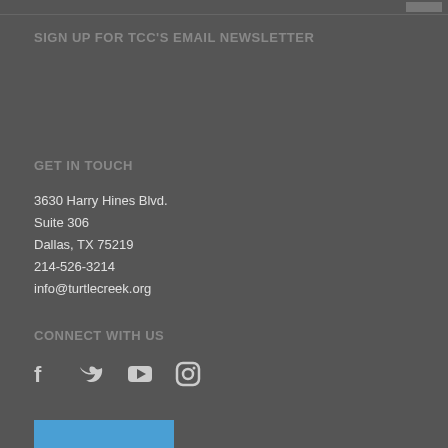SIGN UP FOR TCC'S EMAIL NEWSLETTER
GET IN TOUCH
3630 Harry Hines Blvd.
Suite 306
Dallas, TX 75219
214-526-3214
info@turtlecreek.org
CONNECT WITH US
[Figure (illustration): Social media icons: Facebook, Twitter, YouTube, Instagram]
[Figure (illustration): Bottom image partial view, light blue rectangle]